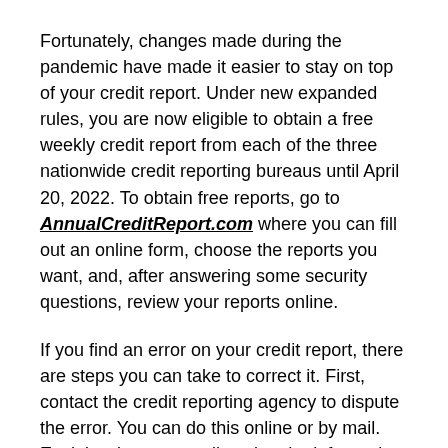Fortunately, changes made during the pandemic have made it easier to stay on top of your credit report. Under new expanded rules, you are now eligible to obtain a free weekly credit report from each of the three nationwide credit reporting bureaus until April 20, 2022. To obtain free reports, go to AnnualCreditReport.com where you can fill out an online form, choose the reports you want, and, after answering some security questions, review your reports online.
If you find an error on your credit report, there are steps you can take to correct it. First, contact the credit reporting agency to dispute the error. You can do this online or by mail. Explain why you are disputing the information and be sure to include documentation that supports your dispute. The credit reporting bureau generally has 30 to 45 days to investigate the disputed information. Once the investigation is complete, the